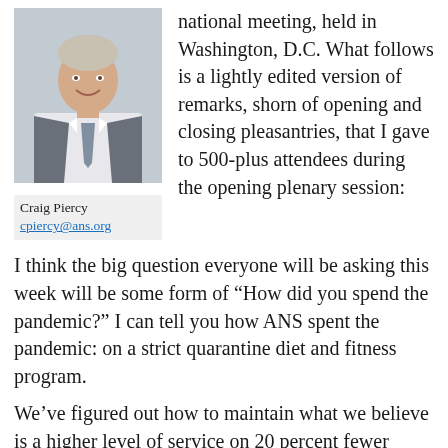[Figure (photo): Headshot photo of Craig Piercy, a man in a grey suit with a tie, smiling.]
Craig Piercy
cpiercy@ans.org
national meeting, held in Washington, D.C. What follows is a lightly edited version of remarks, shorn of opening and closing pleasantries, that I gave to 500-plus attendees during the opening plenary session:
I think the big question everyone will be asking this week will be some form of “How did you spend the pandemic?” I can tell you how ANS spent the pandemic: on a strict quarantine diet and fitness program.
We’ve figured out how to maintain what we believe is a higher level of service on 20 percent fewer FTEs. We’ve rebuilt our digital infrastructure and have a firm path forward toward a modern data architecture. We